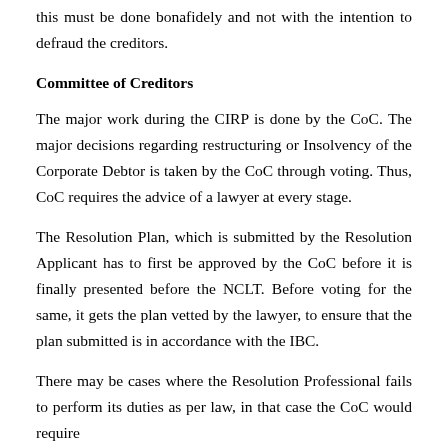this must be done bonafidely and not with the intention to defraud the creditors.
Committee of Creditors
The major work during the CIRP is done by the CoC. The major decisions regarding restructuring or Insolvency of the Corporate Debtor is taken by the CoC through voting. Thus, CoC requires the advice of a lawyer at every stage.
The Resolution Plan, which is submitted by the Resolution Applicant has to first be approved by the CoC before it is finally presented before the NCLT. Before voting for the same, it gets the plan vetted by the lawyer, to ensure that the plan submitted is in accordance with the IBC.
There may be cases where the Resolution Professional fails to perform its duties as per law, in that case the CoC would require